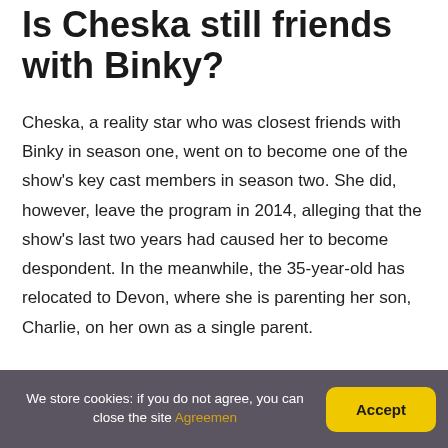Is Cheska still friends with Binky?
Cheska, a reality star who was closest friends with Binky in season one, went on to become one of the show's key cast members in season two. She did, however, leave the program in 2014, alleging that the show's last two years had caused her to become despondent. In the meanwhile, the 35-year-old has relocated to Devon, where she is parenting her son, Charlie, on her own as a single parent.
Did Ollie get married?
We store cookies: if you do not agree, you can close the site Agreement